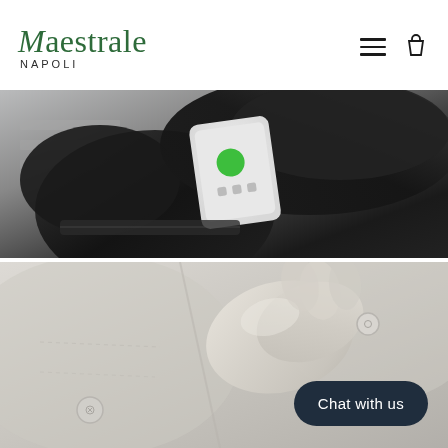Maestrale NAPOLI
[Figure (photo): Person wearing black leather gloves holding a smartphone, outdoors near a pedestrian crossing. The phone screen shows a green call button.]
[Figure (photo): Close-up of light-colored leather gloves resting on a grey coat with buttons visible.]
Chat with us